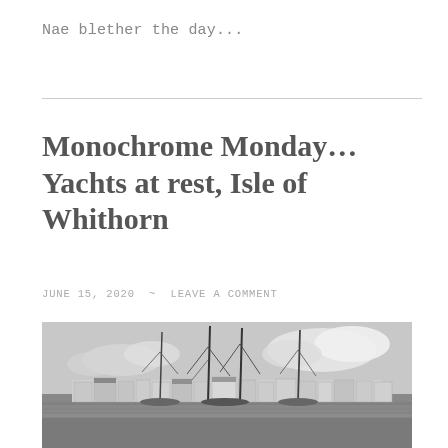Nae blether the day...
Monochrome Monday… Yachts at rest, Isle of Whithorn
JUNE 15, 2020  ~  LEAVE A COMMENT
[Figure (photo): Black and white photograph of yachts with tall masts moored at Isle of Whithorn harbour, with white buildings of the village visible in the background under a cloudy sky.]